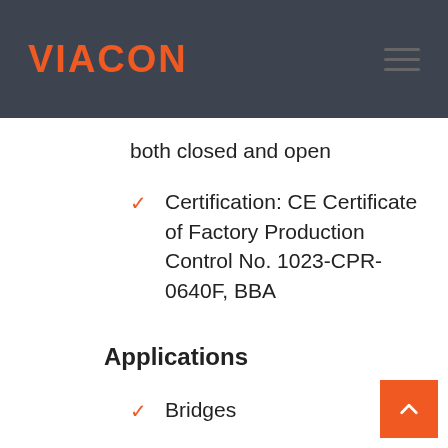VIACON
both closed and open
Certification: CE Certificate of Factory Production Control No. 1023-CPR-0640F, BBA
Applications
Bridges
Culverts